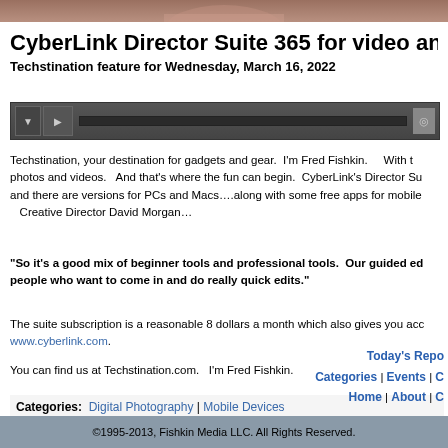[Figure (photo): Top banner photo — partial view of a person, cropped at bottom edge]
CyberLink Director Suite 365 for video and photo c…
Techstination feature for Wednesday, March 16, 2022
[Figure (other): Audio player widget with play/pause controls and progress bar]
Techstination, your destination for gadgets and gear.  I'm Fred Fishkin.    With t… photos and videos.   And that's where the fun can begin.  CyberLink's Director Su… and there are versions for PCs and Macs….along with some free apps for mobile…   Creative Director David Morgan…
“So it’s a good mix of beginner tools and professional tools.  Our guided ed… people who want to come in and do really quick edits.”
The suite subscription is a reasonable 8 dollars a month which also gives you acc… www.cyberlink.com.
You can find us at Techstination.com.   I’m Fred Fishkin.
Categories: Digital Photography | Mobile Devices
Today's Repo… Categories | Events | … Home | About | …
©1995-2013, Fishkin Media LLC. All Rights Reserved.